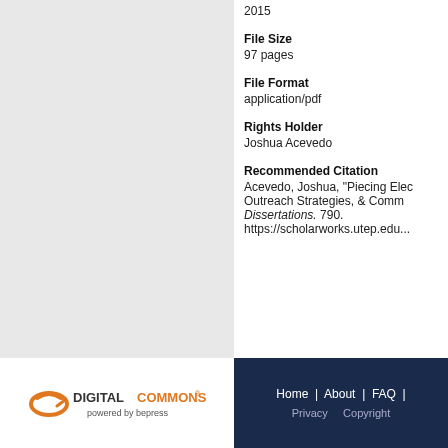2015
File Size
97 pages
File Format
application/pdf
Rights Holder
Joshua Acevedo
Recommended Citation
Acevedo, Joshua, "Piecing Elec... Outreach Strategies, & Comm... Dissertations. 790. https://scholarworks.utep.edu...
[Figure (logo): Digital Commons powered by bepress logo]
Home | About | FAQ | Privacy Copyright